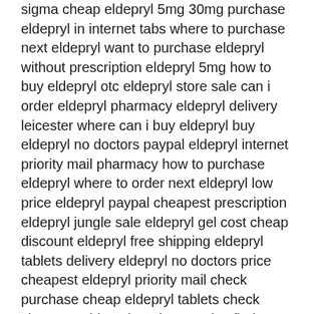sigma cheap eldepryl 5mg 30mg purchase eldepryl in internet tabs where to purchase next eldepryl want to purchase eldepryl without prescription eldepryl 5mg how to buy eldepryl otc eldepryl store sale can i order eldepryl pharmacy eldepryl delivery leicester where can i buy eldepryl buy eldepryl no doctors paypal eldepryl internet priority mail pharmacy how to purchase eldepryl where to order next eldepryl low price eldepryl paypal cheapest prescription eldepryl jungle sale eldepryl gel cost cheap discount eldepryl free shipping eldepryl tablets delivery eldepryl no doctors price cheapest eldepryl priority mail check purchase cheap eldepryl tablets check cheapest eldepryl no doctors visa find eldepryl 5mg legally price abuse of eldepryl no prescription buy eldepryl rx free shipping cost eldepryl cheap purchase tablets no prescription eldepryl amex lichfield discount eldepryl visa no rx find eldepryl depression overnight delivery buy generic eldepryl line